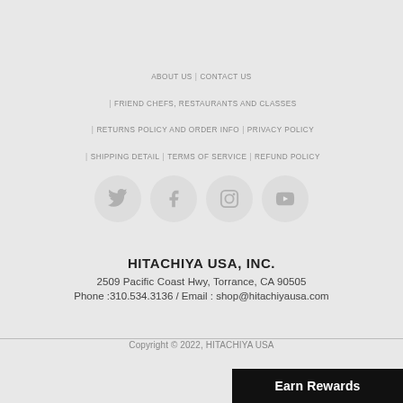ABOUT US | CONTACT US | FRIEND CHEFS, RESTAURANTS AND CLASSES | RETURNS POLICY AND ORDER INFO | PRIVACY POLICY | SHIPPING DETAIL | TERMS OF SERVICE | REFUND POLICY
[Figure (other): Four circular social media icon buttons: Twitter, Facebook, Instagram, YouTube]
HITACHIYA USA, INC.
2509 Pacific Coast Hwy, Torrance, CA 90505
Phone :310.534.3136 / Email : shop@hitachiyausa.com
Copyright © 2022, HITACHIYA USA
Earn Rewards